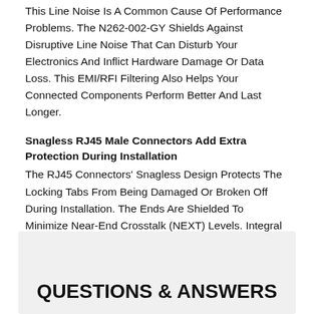This Line Noise Is A Common Cause Of Performance Problems. The N262-002-GY Shields Against Disruptive Line Noise That Can Disturb Your Electronics And Inflict Hardware Damage Or Data Loss. This EMI/RFI Filtering Also Helps Your Connected Components Perform Better And Last Longer.
Snagless RJ45 Male Connectors Add Extra Protection During Installation
The RJ45 Connectors' Snagless Design Protects The Locking Tabs From Being Damaged Or Broken Off During Installation. The Ends Are Shielded To Minimize Near-End Crosstalk (NEXT) Levels. Integral Strain Relief Gives The N262-002-GY Extra Flexibility, Reduces Stress And Helps The Cable Move Freely Without Cracking Or Breaking Loose From The Connector.
QUESTIONS & ANSWERS